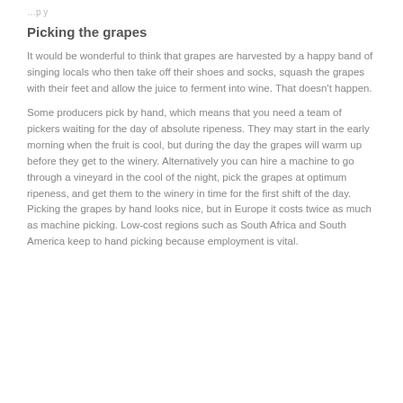…p y
Picking the grapes
It would be wonderful to think that grapes are harvested by a happy band of singing locals who then take off their shoes and socks, squash the grapes with their feet and allow the juice to ferment into wine. That doesn't happen.
Some producers pick by hand, which means that you need a team of pickers waiting for the day of absolute ripeness. They may start in the early morning when the fruit is cool, but during the day the grapes will warm up before they get to the winery. Alternatively you can hire a machine to go through a vineyard in the cool of the night, pick the grapes at optimum ripeness, and get them to the winery in time for the first shift of the day. Picking the grapes by hand looks nice, but in Europe it costs twice as much as machine picking. Low-cost regions such as South Africa and South America keep to hand picking because employment is vital.